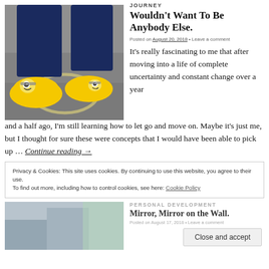[Figure (photo): Photo of person wearing yellow Minion-themed shoes standing on asphalt with a chalk circle drawing]
JOURNEY
Wouldn't Want To Be Anybody Else.
Posted on August 20, 2018 • Leave a comment
It's really fascinating to me that after moving into a life of complete uncertainty and constant change over a year and a half ago, I'm still learning how to let go and move on. Maybe it's just me, but I thought for sure these were concepts that I would have been able to pick up … Continue reading →
Privacy & Cookies: This site uses cookies. By continuing to use this website, you agree to their use. To find out more, including how to control cookies, see here: Cookie Policy
[Figure (photo): Partially visible photo of second blog post]
PERSONAL DEVELOPMENT
Mirror, Mirror on the Wall.
Posted on August 17, 2018 • Leave a comment